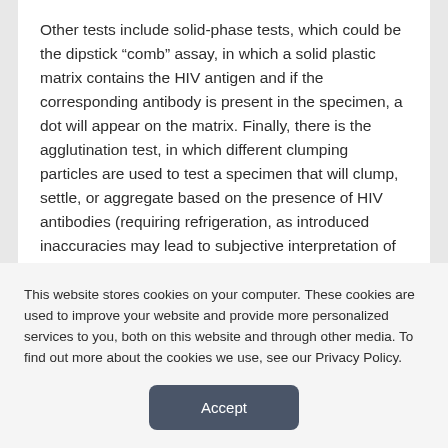Other tests include solid-phase tests, which could be the dipstick “comb” assay, in which a solid plastic matrix contains the HIV antigen and if the corresponding antibody is present in the specimen, a dot will appear on the matrix. Finally, there is the agglutination test, in which different clumping particles are used to test a specimen that will clump, settle, or aggregate based on the presence of HIV antibodies (requiring refrigeration, as introduced inaccuracies may lead to subjective interpretation of these tests).
This website stores cookies on your computer. These cookies are used to improve your website and provide more personalized services to you, both on this website and through other media. To find out more about the cookies we use, see our Privacy Policy.